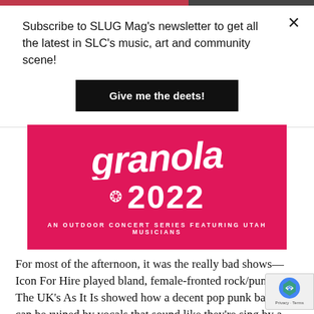Subscribe to SLUG Mag's newsletter to get all the latest in SLC's music, art and community scene!
Give me the deets!
[Figure (illustration): Pink concert poster with white script text and '2022' in large bold letters, subtitle reads 'AN OUTDOOR CONCERT SERIES FEATURING UTAH MUSICIANS']
For most of the afternoon, it was the really bad shows—Icon For Hire played bland, female-fronted rock/punk. The UK's As It Is showed how a decent pop punk band can be ruined by vocals that sound like they're sung by a 12-year-old boy that can't sing. Black...